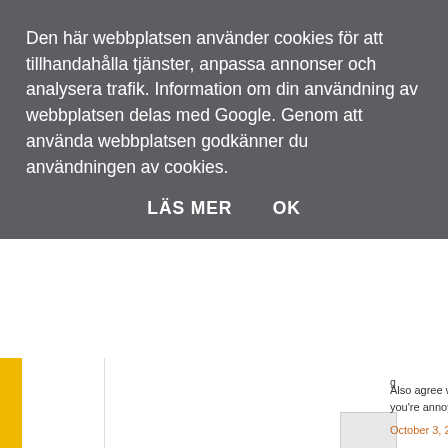[Figure (screenshot): Webpage screenshot partially visible behind cookie consent banner. Left side has yellow and grey column strips. Right side shows comment section with partially visible text including 'Also agree wi... you're annoye...', date 'October 3, 20...', comment by 'Wayne Earl s' saying 'All of it is bulls...', followed by 'If you believe... ever has is th... nothing more...' and 'Take your life...']
Den här webbplatsen använder cookies för att tillhandahålla tjänster, anpassa annonser och analysera trafik. Information om din användning av webbplatsen delas med Google. Genom att använda webbplatsen godkänner du användningen av cookies.
LÄS MER    OK